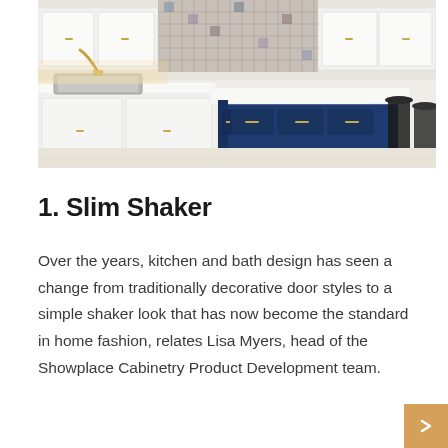[Figure (photo): Kitchen interior photograph showing white upper cabinets, navy blue kitchen island with white quartz countertop, gold hardware, decorative tile backsplash, stainless steel appliances including refrigerator, and black bar stools.]
1. Slim Shaker
Over the years, kitchen and bath design has seen a change from traditionally decorative door styles to a simple shaker look that has now become the standard in home fashion, relates Lisa Myers, head of the Showplace Cabinetry Product Development team.